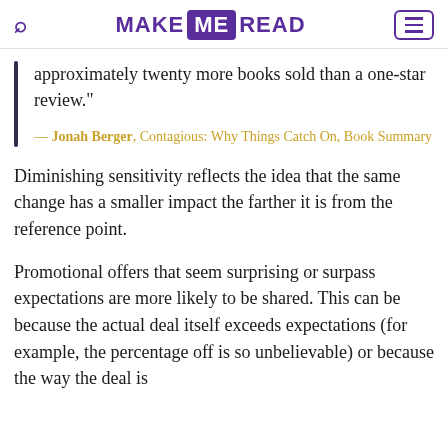MAKE ME READ
approximately twenty more books sold than a one-star review."
— Jonah Berger, Contagious: Why Things Catch On, Book Summary
Diminishing sensitivity reflects the idea that the same change has a smaller impact the farther it is from the reference point.
Promotional offers that seem surprising or surpass expectations are more likely to be shared. This can be because the actual deal itself exceeds expectations (for example, the percentage off is so unbelievable) or because the way the deal is